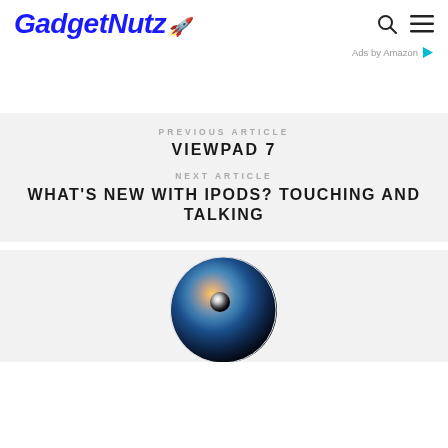GadgetNutz
Ads by Amazon
PREVIOUS ARTICLE
VIEWPAD 7
NEXT ARTICLE
WHAT'S NEW WITH IPODS? TOUCHING AND TALKING
[Figure (photo): Circular photo showing a dark space/eye-like image with blue tones and a bright glow in the center, set against a light grey background]